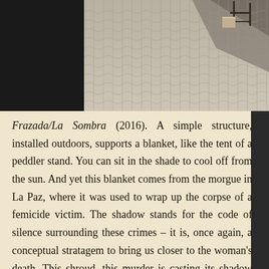[Figure (photo): Outdoor photo showing a patterned stone/brick pavement with interlocking zigzag tiles. In the top right corner, a dark metal chair and a light-colored box/stool are visible casting shadows on the pavement.]
Frazada/La Sombra (2016). A simple structure, installed outdoors, supports a blanket, like the tent of a peddler stand. You can sit in the shade to cool off from the sun. And yet this blanket comes from the morgue in La Paz, where it was used to wrap up the corpse of a femicide victim. The shadow stands for the code of silence surrounding these crimes – it is, once again, a conceptual stratagem to bring us closer to the woman's death. This shroud, this murder is casting its shadow on us too.